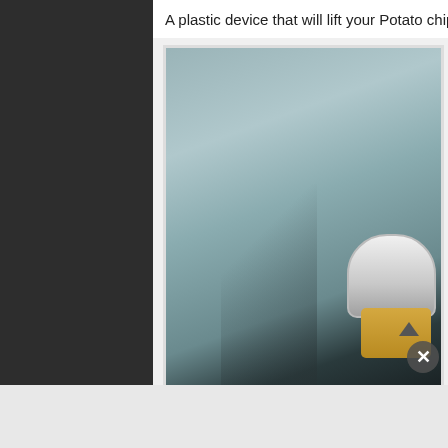A plastic device that will lift your Potato chips out
[Figure (photo): Close-up photo of a plastic device designed to lift potato chips out of a bag, showing the device arm and base against a grey-green background]
Advertisements
[Figure (screenshot): Advertisement banner: 'Opinions. We all have them!' with WordPress W logo and Blog logo on dark blue background]